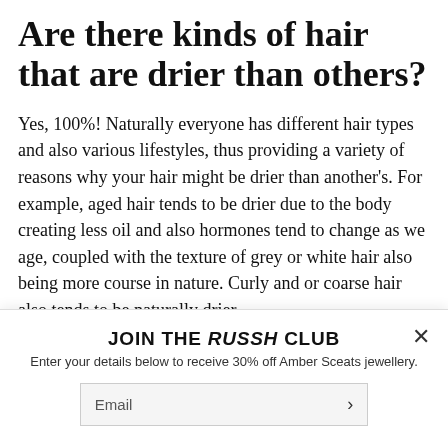Are there kinds of hair that are drier than others?
Yes, 100%! Naturally everyone has different hair types and also various lifestyles, thus providing a variety of reasons why your hair might be drier than another's. For example, aged hair tends to be drier due to the body creating less oil and also hormones tend to change as we age, coupled with the texture of grey or white hair also being more course in nature. Curly and or coarse hair also tends to be naturally drier.
The f... (partially visible, faded text)
JOIN THE RUSSH CLUB
Enter your details below to receive 30% off Amber Sceats jewellery.